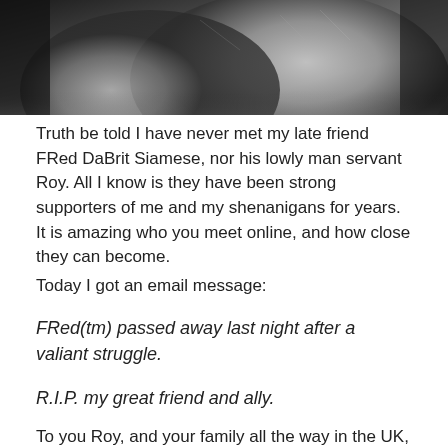[Figure (photo): Black and white close-up photograph of a cat (Siamese), partially cropped at top of page]
Truth be told I have never met my late friend FRed DaBrit Siamese, nor his lowly man servant Roy. All I know is they have been strong supporters of me and my shenanigans for years. It is amazing who you meet online, and how close they can become.
Today I got an email message:
FRed(tm) passed away last night after a valiant struggle.
R.I.P. my great friend and ally.
To you Roy, and your family all the way in the UK, I send you my sympathies as I too mourn Fred. That cat was so